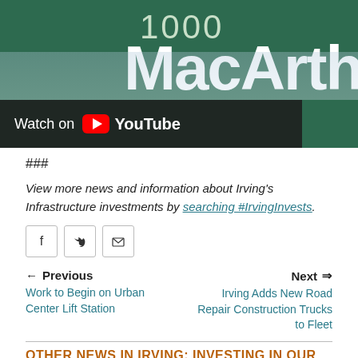[Figure (screenshot): YouTube thumbnail showing a green street sign reading '1000 MacArthu...' with a 'Watch on YouTube' overlay bar at the bottom left.]
###
View more news and information about Irving's Infrastructure investments by searching #IrvingInvests.
[Figure (infographic): Social sharing icons: Facebook, Twitter, Email]
← Previous
Work to Begin on Urban Center Lift Station
Next ⇒
Irving Adds New Road Repair Construction Trucks to Fleet
OTHER NEWS IN IRVING: INVESTING IN OUR